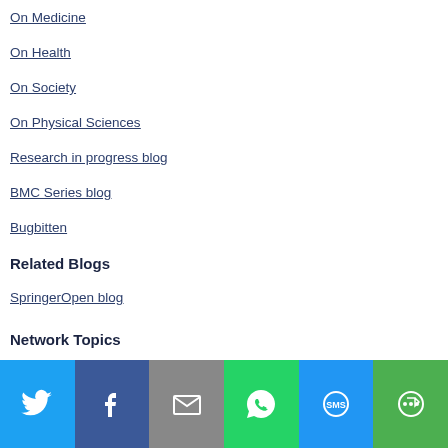On Medicine
On Health
On Society
On Physical Sciences
Research in progress blog
BMC Series blog
Bugbitten
Related Blogs
SpringerOpen blog
Network Topics
[Figure (infographic): Social sharing bar with Twitter, Facebook, Email, WhatsApp, SMS, and More buttons]